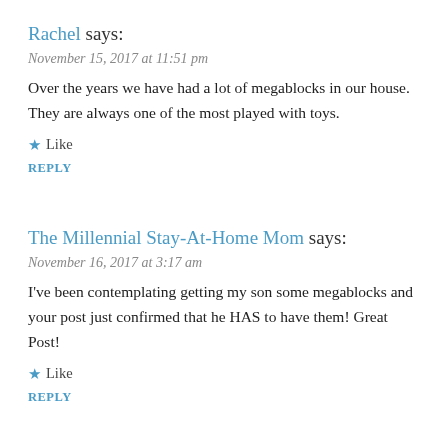Rachel says:
November 15, 2017 at 11:51 pm
Over the years we have had a lot of megablocks in our house. They are always one of the most played with toys.
★ Like
REPLY
The Millennial Stay-At-Home Mom says:
November 16, 2017 at 3:17 am
I've been contemplating getting my son some megablocks and your post just confirmed that he HAS to have them! Great Post!
★ Like
REPLY
Jillian says:
November 16, 2017 at 5:34 pm